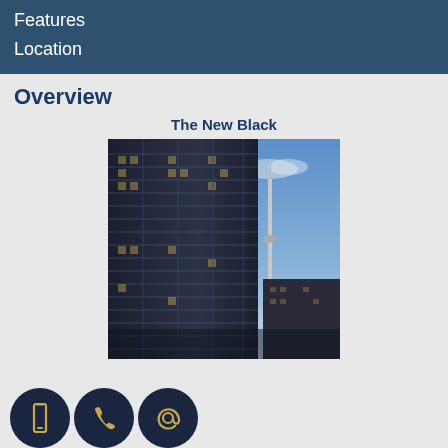Features
Location
Overview
The New Black
[Figure (photo): Tall modern condo building with dark glass facade, CN Tower visible in background, Toronto skyline]
[Figure (infographic): Three contact icon buttons: mobile phone, phone handset, and @ email symbol on dark circular backgrounds]